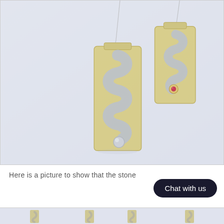[Figure (photo): Two gold/silver rectangular pendant necklaces with wavy S-shaped cutout designs. The left pendant is taller and has a silver ball at the bottom. The right shorter pendant has a small red ruby gemstone at the curve. Both hang on fine chain necklaces against a light blue-grey background.]
Here is a picture to show that the stone
[Figure (photo): Partial view of small jewelry pieces at the bottom of the page, partially cut off.]